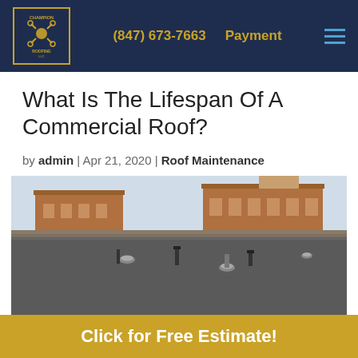(847) 673-7663  Payment
What Is The Lifespan Of A Commercial Roof?
by admin | Apr 21, 2020 | Roof Maintenance
[Figure (photo): View from flat commercial rooftop showing grey membrane roof surface with drain vents, and brick commercial buildings in the background under a clear sky.]
Click for Free Estimate!